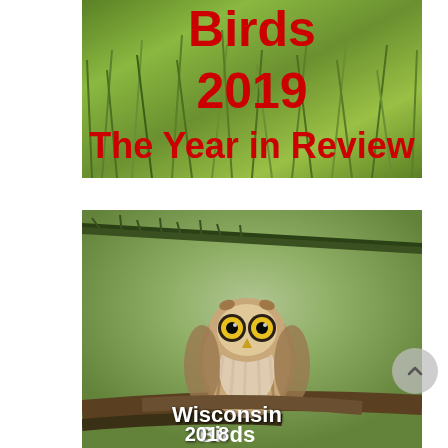[Figure (photo): Top image showing green grass/foliage background with red bold text reading 'Birds 2019 The Year in Review']
[Figure (photo): Bottom image showing a small Northern Saw-whet Owl perched on a branch, facing forward, with yellow eyes. White text overlaid reads 'Wisconsin Birds 2018']